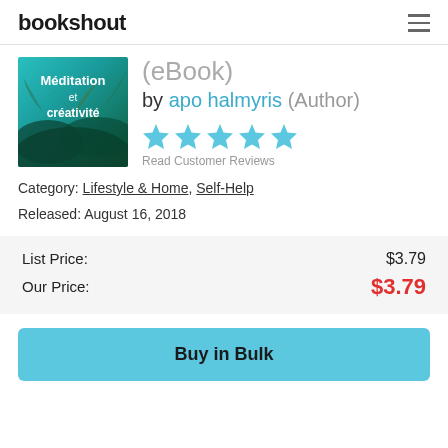bookshout
[Figure (photo): Book cover for 'Méditation et créativité' showing a nature/tree background in teal/green tones with white text]
(eBook)
by apo halmyris (Author)
[Figure (other): Five light blue star rating icons]
Read Customer Reviews
Category: Lifestyle & Home, Self-Help
Released: August 16, 2018
List Price: $3.79
Our Price: $3.79
Buy in Bulk